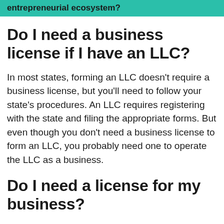entrepreneurial ecosystem?
Do I need a business license if I have an LLC?
In most states, forming an LLC doesn't require a business license, but you'll need to follow your state's procedures. An LLC requires registering with the state and filing the appropriate forms. But even though you don't need a business license to form an LLC, you probably need one to operate the LLC as a business.
Do I need a license for my business?